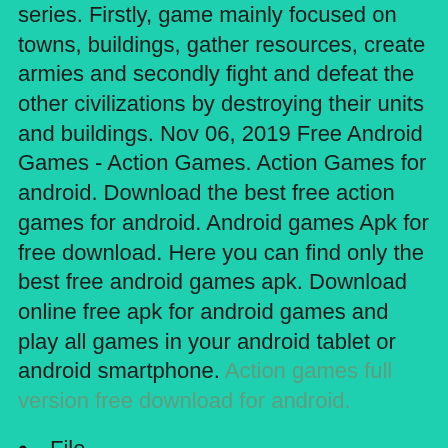series. Firstly, game mainly focused on towns, buildings, gather resources, create armies and secondly fight and defeat the other civilizations by destroying their units and buildings. Nov 06, 2019  Free Android Games - Action Games. Action Games for android. Download the best free action games for android. Android games Apk for free download. Here you can find only the best free android games apk. Download online free apk for android games and play all games in your android tablet or android smartphone. Action games full version free download for android.
File Name:GoldenTrails2TheLostLegacySetup.exe
Author:AWEM studio
License:Shareware ($9.95)
File Size:306 Mi...